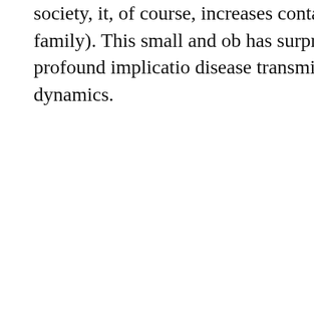society, it, of course, increases contact group (i.e. family). This small and obvious observation has surprisingly profound implications for disease transmission dynamics.
Get thoughtful commentaries and essays sent to your inbox every Sunday.
Your email
SIGN UP
LISTEN LIVE Wait Wait... Don't Tell Me!